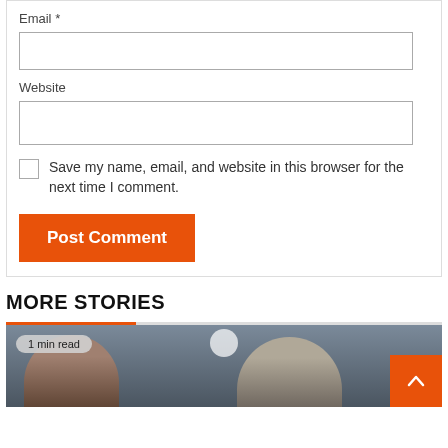Email *
Website
Save my name, email, and website in this browser for the next time I comment.
Post Comment
MORE STORIES
[Figure (photo): Photo strip showing two people, with a '1 min read' badge and a back-to-top orange button]